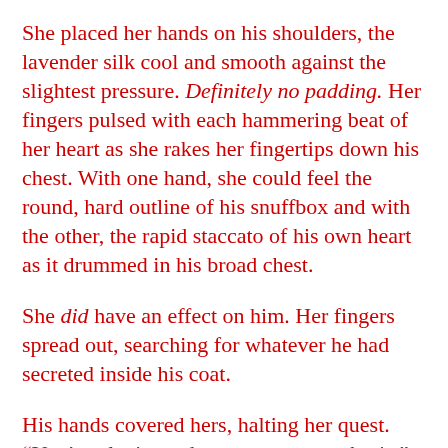She placed her hands on his shoulders, the lavender silk cool and smooth against the slightest pressure. Definitely no padding. Her fingers pulsed with each hammering beat of her heart as she rakes her fingertips down his chest. With one hand, she could feel the round, hard outline of his snuffbox and with the other, the rapid staccato of his own heart as it drummed in his broad chest.
She did have an effect on him. Her fingers spread out, searching for whatever he had secreted inside his coat.
His hands covered hers, halting her quest. “You’re playing a dangerous game, cherie.”
“And what game are you playing that has you stealing into bedchambers in the dark?”